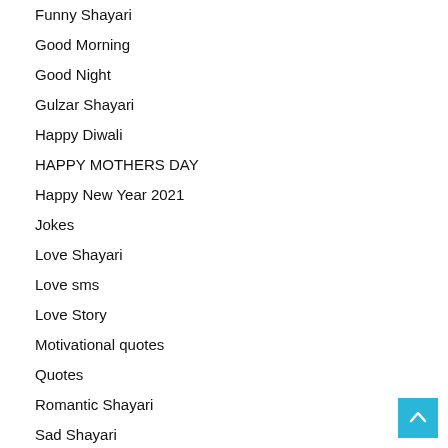Funny Shayari
Good Morning
Good Night
Gulzar Shayari
Happy Diwali
HAPPY MOTHERS DAY
Happy New Year 2021
Jokes
Love Shayari
Love sms
Love Story
Motivational quotes
Quotes
Romantic Shayari
Sad Shayari